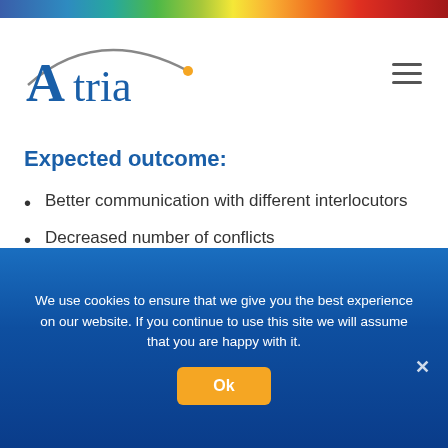[Figure (logo): Atria company logo with stylized arc above text]
Expected outcome:
Better communication with different interlocutors
Decreased number of conflicts
Better management of potential conflicts
Bigger self-esteem
Better flexibility
We use cookies to ensure that we give you the best experience on our website. If you continue to use this site we will assume that you are happy with it.